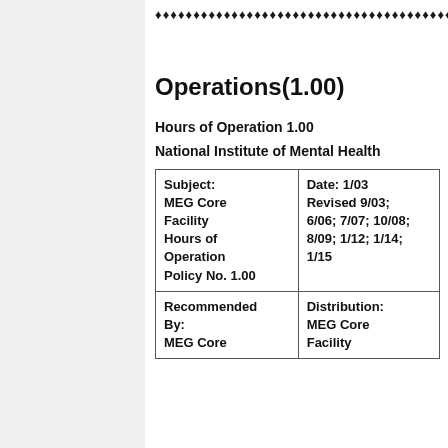♦♦♦♦♦♦♦♦♦♦♦♦♦♦♦♦♦♦♦♦♦♦♦♦♦♦♦♦♦♦♦♦♦♦♦♦♦♦♦♦♦♦♦♦♦♦♦♦
Operations(1.00)
Hours of Operation 1.00
National Institute of Mental Health
| Subject: MEG Core Facility Hours of Operation Policy No. 1.00 | Date: 1/03 Revised 9/03; 6/06; 7/07; 10/08; 8/09; 1/12; 1/14; 1/15 |
| Recommended By: MEG Core | Distribution: MEG Core Facility |